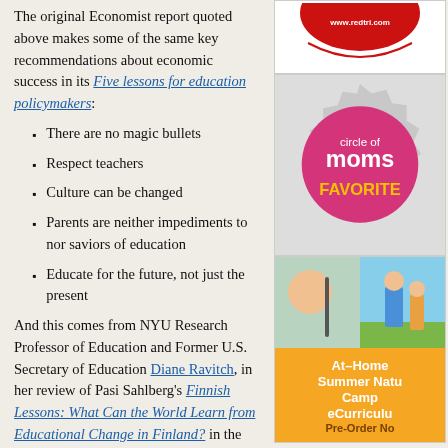The original Economist report quoted above makes some of the same key recommendations about economic success in its Five lessons for education policymakers:
There are no magic bullets
Respect teachers
Culture can be changed
Parents are neither impediments to nor saviors of education
Educate for the future, not just the present
And this comes from NYU Research Professor of Education and Former U.S. Secretary of Education Diane Ravitch, in her review of Pasi Sahlberg's Finnish Lessons: What Can the World Learn from Educational Change in Finland? in the New York Review of Books:
[Figure (logo): redtri.com website logo/badge with red circular design]
[Figure (logo): Circle of Moms Favorite badge - pink/magenta circular seal on gray gear-shaped background with text 'circle of moms FAVORITE']
[Figure (photo): At-Home Summer Nature Camp eCurriculum advertisement with photos of children and orange banner text 'At-Home Summer Nature Camp eCurriculum Pre-Order Now']